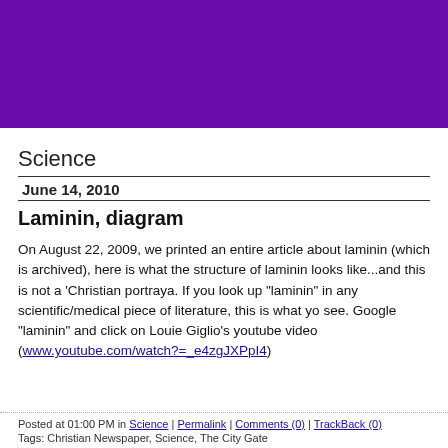[Figure (other): Purple/violet header banner]
Science
June 14, 2010
Laminin, diagram
On August 22, 2009, we printed an entire article about laminin (which is archived), here is what the structure of laminin looks like...and this is not a 'Christian portraya. If you look up "laminin" in any scientific/medical piece of literature, this is what yo see. Google "laminin" and click on Louie Giglio's youtube video (www.youtube.com/watch?=_e4zgJXPpI4)
Posted at 01:00 PM in Science | Permalink | Comments (0) | TrackBack (0)
Tags: Christian Newspaper, Science, The City Gate